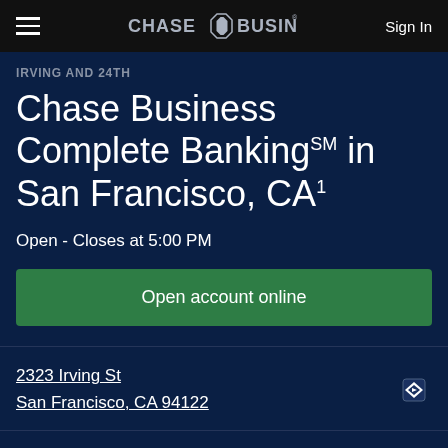CHASE FOR BUSINESS Sign In
IRVING AND 24TH
Chase Business Complete Banking℠ in San Francisco, CA¹
Open - Closes at 5:00 PM
Open account online
2323 Irving St
San Francisco, CA 94122
(415) 759-3970